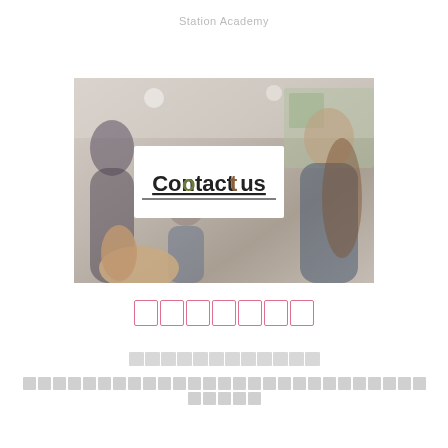Station Academy
[Figure (photo): Photo of people in an office/classroom setting, with a hand holding a white card that reads 'Contact us' with underline]
（redacted Japanese text）
（redacted Japanese text line 1）
（redacted Japanese text line 2）